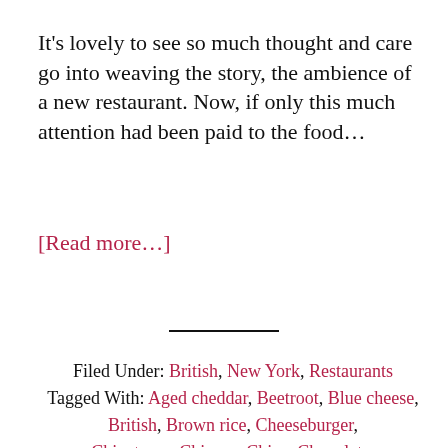It's lovely to see so much thought and care go into weaving the story, the ambience of a new restaurant. Now, if only this much attention had been paid to the food...
[Read more...]
Filed Under: British, New York, Restaurants
Tagged With: Aged cheddar, Beetroot, Blue cheese, British, Brown rice, Cheeseburger, Chinatown, Chinese, Chips, Chocolate,